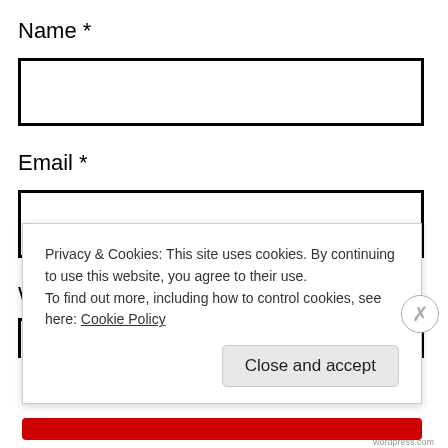Name *
[Figure (other): Empty text input box for Name field]
Email *
[Figure (other): Empty text input box for Email field]
W
Privacy & Cookies: This site uses cookies. By continuing to use this website, you agree to their use.
To find out more, including how to control cookies, see here: Cookie Policy
Close and accept